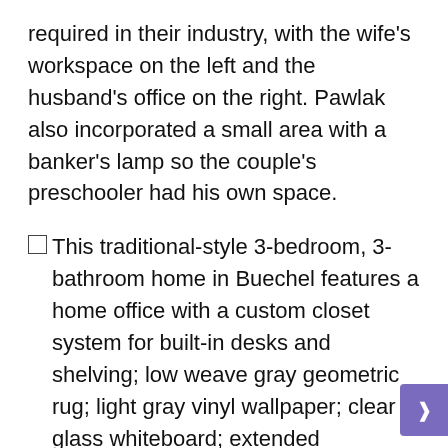required in their industry, with the wife's workspace on the left and the husband's office on the right. Pawlak also incorporated a small area with a banker's lamp so the couple's preschooler had his own space.
This traditional-style 3-bedroom, 3-bathroom home in Buechel features a home office with a custom closet system for built-in desks and shelving; low weave gray geometric rug; light gray vinyl wallpaper; clear glass whiteboard; extended desk/counter area; displays; upholstered side chairs and side tables.
House of the week: This New England Federal-style home is one of the oldest in the Louisville area